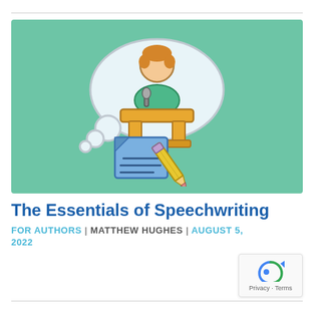[Figure (illustration): Illustration on a mint/teal green background showing a person at a podium with a thought cloud bubble containing them, alongside a document with lines and a pencil, representing speechwriting.]
The Essentials of Speechwriting
FOR AUTHORS | MATTHEW HUGHES | AUGUST 5, 2022